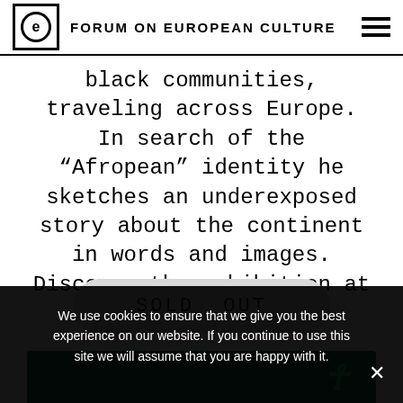FORUM ON EUROPEAN CULTURE
black communities, traveling across Europe. In search of the “Afropean” identity he sketches an underexposed story about the continent in words and images. Discover the exhibition at Foam.
SOLD OUT
[Figure (illustration): Green background image strip with a stylized question mark or letter character in bright green]
We use cookies to ensure that we give you the best experience on our website. If you continue to use this site we will assume that you are happy with it.